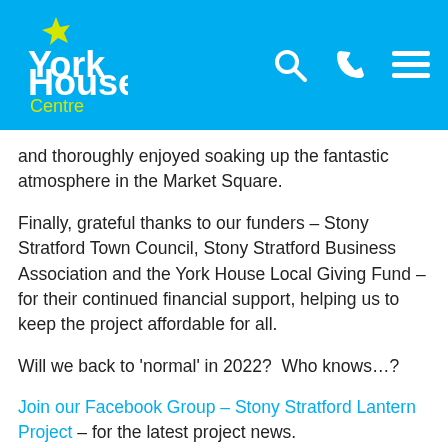[Figure (logo): York House Centre logo with yellow figure and white text on blue background, with search, phone and menu icons]
and thoroughly enjoyed soaking up the fantastic atmosphere in the Market Square.
Finally, grateful thanks to our funders – Stony Stratford Town Council, Stony Stratford Business Association and the York House Local Giving Fund – for their continued financial support, helping us to keep the project affordable for all.
Will we back to ‘normal’ in 2022?  Who knows…?
Join our Facebook Group – Stony Stratford Lantern Project – for the latest project news.